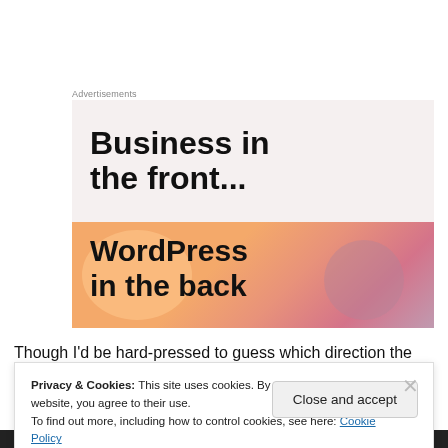Advertisements
[Figure (illustration): Advertisement image for WordPress. Top half shows text 'Business in the front...' on a light cream/pink background. Bottom half shows 'WordPress in the back' text on a colorful orange-to-pink gradient background with circular blob shapes.]
Though I'd be hard-pressed to guess which direction the
Privacy & Cookies: This site uses cookies. By continuing to use this website, you agree to their use.
To find out more, including how to control cookies, see here: Cookie Policy
Close and accept